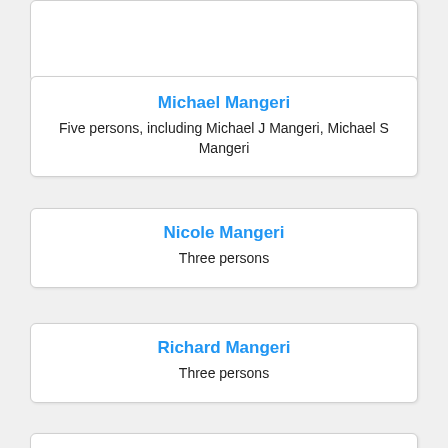Michael Mangeri
Five persons, including Michael J Mangeri, Michael S Mangeri
Nicole Mangeri
Three persons
Richard Mangeri
Three persons
Robert Mangeri
Two persons, including Robert L Mangeri